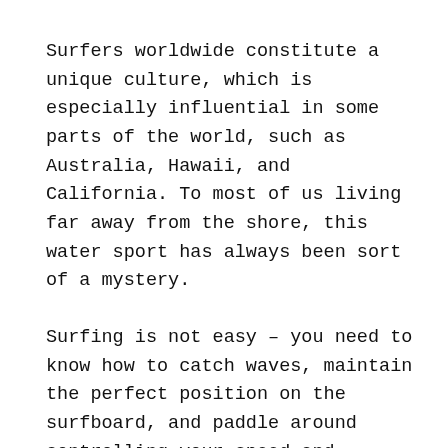Surfers worldwide constitute a unique culture, which is especially influential in some parts of the world, such as Australia, Hawaii, and California. To most of us living far away from the shore, this water sport has always been sort of a mystery.
Surfing is not easy – you need to know how to catch waves, maintain the perfect position on the surfboard, and paddle around controlling your speed and movements. Sounds like rocket science?
It might be challenging, but surf statistics show that the persistent ones quickly develop a kind of addiction to it. Why is it so, and are there any dangers to it? We're